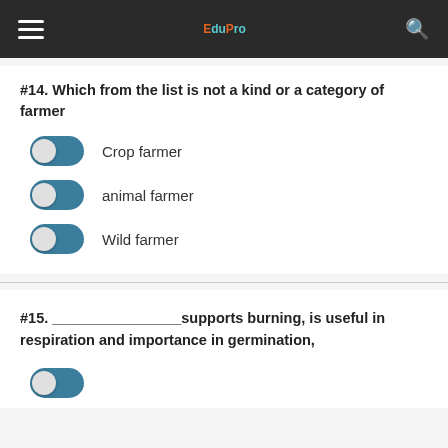EduPro
#14. Which from the list is not a kind or a category of farmer
Crop farmer
animal farmer
Wild farmer
#15. ________________supports burning, is useful in respiration and importance in germination,